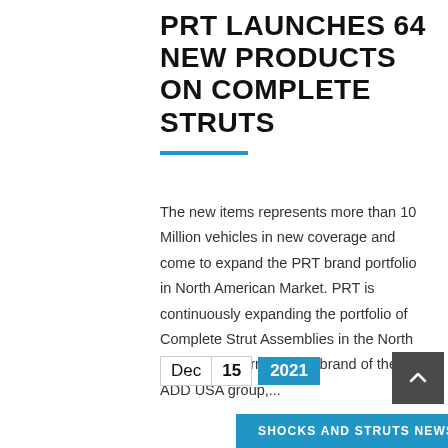PRT LAUNCHES 64 NEW PRODUCTS ON COMPLETE STRUTS
The new items represents more than 10 Million vehicles in new coverage and come to expand the PRT brand portfolio in North American Market. PRT is continuously expanding the portfolio of Complete Strut Assemblies in the North American Aftermarket. A brand of the ADD USA group,...
Dec 15 2021
SHOCKS AND STRUTS NEWS